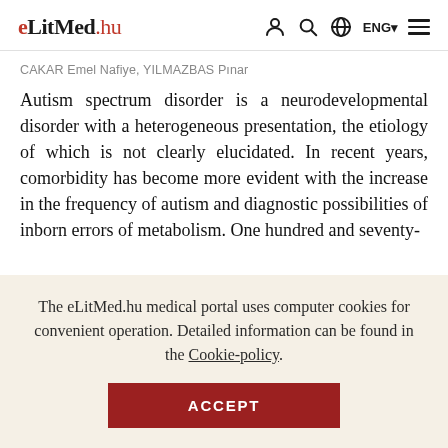eLitMed.hu — ENG navigation header
CAKAR Emel Nafiye, YILMAZBAS Pınar
Autism spectrum disorder is a neurodevelopmental disorder with a heterogeneous presentation, the etiology of which is not clearly elucidated. In recent years, comorbidity has become more evident with the increase in the frequency of autism and diagnostic possibilities of inborn errors of metabolism. One hundred and seventy-
The eLitMed.hu medical portal uses computer cookies for convenient operation. Detailed information can be found in the Cookie-policy.
ACCEPT